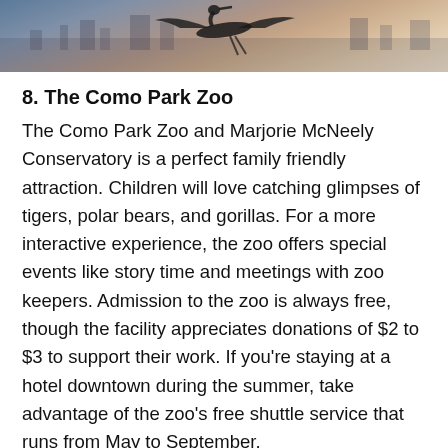[Figure (photo): A partial photo strip at the top showing what appears to be a bird (possibly a heron or crane) silhouetted against a warm dusk sky with a waterfront/city scene in the background.]
8. The Como Park Zoo
The Como Park Zoo and Marjorie McNeely Conservatory is a perfect family friendly attraction. Children will love catching glimpses of tigers, polar bears, and gorillas. For a more interactive experience, the zoo offers special events like story time and meetings with zoo keepers. Admission to the zoo is always free, though the facility appreciates donations of $2 to $3 to support their work. If you're staying at a hotel downtown during the summer, take advantage of the zoo's free shuttle service that runs from May to September.